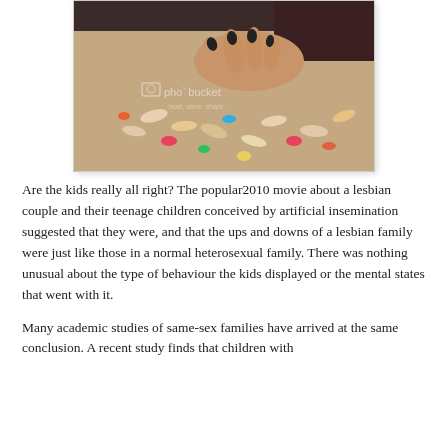[Figure (photo): A photograph showing a hand with black nail polish reaching toward scattered pills and capsules on a floor surface. A Photobucket watermark is visible on the image.]
Are the kids really all right? The popular2010 movie about a lesbian couple and their teenage children conceived by artificial insemination suggested that they were, and that the ups and downs of a lesbian family were just like those in a normal heterosexual family. There was nothing unusual about the type of behaviour the kids displayed or the mental states that went with it.
Many academic studies of same-sex families have arrived at the same conclusion. A recent study finds that children with